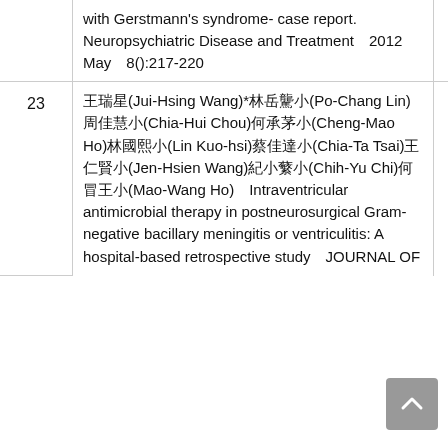| # | Reference | Year |
| --- | --- | --- |
|  | with Gerstmann's syndrome- case report.　Neuropsychiatric Disease and Treatment　2012 May　8():217-220 |  |
| 23 | 王瑞星(Jui-Hsing Wang)*林岳骁小(Po-Chang Lin)周佳慧小(Chia-Hui Chou)何承茅小(Cheng-Mao Ho)林國熙小(Lin Kuo-hsi)蔡佳達小(Chia-Ta Tsai)王仁賢小(Jen-Hsien Wang)紀小蘩小(Chih-Yu Chi)何冒王小(Mao-Wang Ho)　Intraventricular antimicrobial therapy in postneurosurgical Gram-negative bacillary meningitis or ventriculitis: A hospital-based retrospective study　JOURNAL OF... | 2012. 04 |